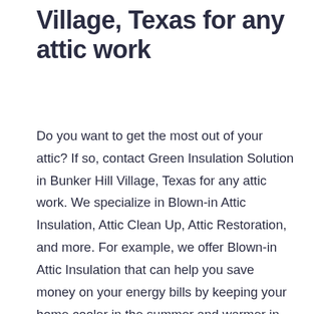Village, Texas for any attic work
Do you want to get the most out of your attic? If so, contact Green Insulation Solution in Bunker Hill Village, Texas for any attic work. We specialize in Blown-in Attic Insulation, Attic Clean Up, Attic Restoration, and more. For example, we offer Blown-in Attic Insulation that can help you save money on your energy bills by keeping your home cooler in the summer and warmer in winter. Then we have Blowing In Blown Fiberglass insulation which is durable and will reduce noise transfer between homes when installed correctly. Plus we also offer Rodent Proofing with our service!